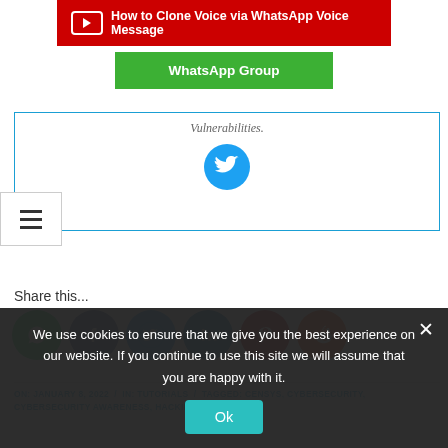[Figure (screenshot): YouTube video banner: red background with YouTube play button logo and text 'How to Clone Voice via WhatsApp Voice Message']
[Figure (screenshot): Green WhatsApp Group button]
Vulnerabilities.
[Figure (logo): Twitter bird logo in blue circle]
[Figure (screenshot): Hamburger menu icon (three horizontal lines)]
Share this...
[Figure (infographic): Social share icons row: WhatsApp (green), Facebook (dark blue), Twitter (light blue), LinkedIn (blue), Pinterest (dark red), Reddit (orange-red)]
ON:  JANUARY 8, 2022  /  IN:  TUTORIALS  /  TAGGED:  CENSYS, CYBERSECURITY, CYBERSECURITY AWARENESS, HACKING, HAVE I BEEN
We use cookies to ensure that we give you the best experience on our website. If you continue to use this site we will assume that you are happy with it.
[Figure (other): Ok button (teal/cyan background)]